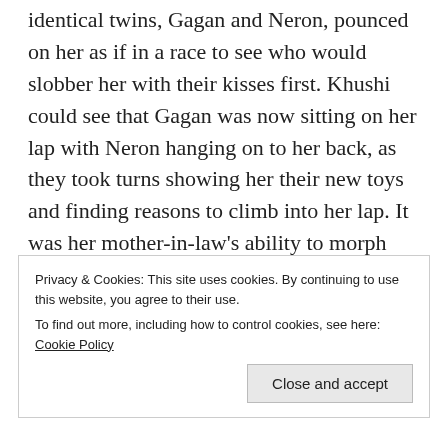identical twins, Gagan and Neron, pounced on her as if in a race to see who would slobber her with their kisses first. Khushi could see that Gagan was now sitting on her lap with Neron hanging on to her back, as they took turns showing her their new toys and finding reasons to climb into her lap. It was her mother-in-law's ability to morph herself to suit the children and play with them accordingly. It always brought a smile and warmth to Khushi's heart to witness this grown up play like the children she was with. She saw this in NK first,
Privacy & Cookies: This site uses cookies. By continuing to use this website, you agree to their use.
To find out more, including how to control cookies, see here: Cookie Policy